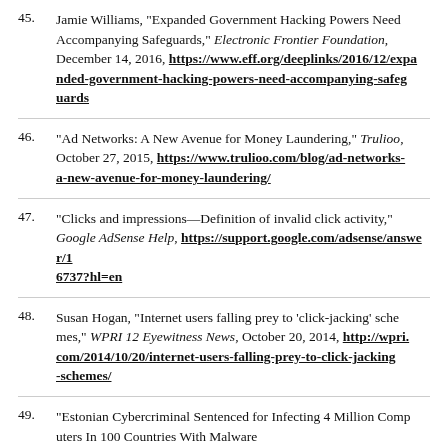45. Jamie Williams, "Expanded Government Hacking Powers Need Accompanying Safeguards," Electronic Frontier Foundation, December 14, 2016, https://www.eff.org/deeplinks/2016/12/expanded-government-hacking-powers-need-accompanying-safeguards
46. "Ad Networks: A New Avenue for Money Laundering," Trulioo, October 27, 2015, https://www.trulioo.com/blog/ad-networks-a-new-avenue-for-money-laundering/
47. "Clicks and impressions—Definition of invalid click activity," Google AdSense Help, https://support.google.com/adsense/answer/16737?hl=en
48. Susan Hogan, "Internet users falling prey to 'click-jacking' schemes," WPRI 12 Eyewitness News, October 20, 2014, http://wpri.com/2014/10/20/internet-users-falling-prey-to-click-jacking-schemes/
49. "Estonian Cybercriminal Sentenced for Infecting 4 Million Computers In 100 Countries With Malware In Multimillion-Dollar Fraud Scheme," United States Department of Justice, April 26, 2016, https://www.justice.gov/usao-sdny/p